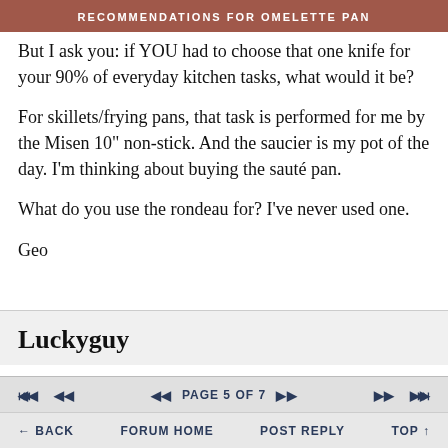RECOMMENDATIONS FOR OMELETTE PAN
But I ask you: if YOU had to choose that one knife for your 90% of everyday kitchen tasks, what would it be?
For skillets/frying pans, that task is performed for me by the Misen 10" non-stick. And the saucier is my pot of the day. I'm thinking about buying the sauté pan.
What do you use the rondeau for? I've never used one.
Geo
Luckyguy
PAGE 5 OF 7
BACK   FORUM HOME   POST REPLY   TOP